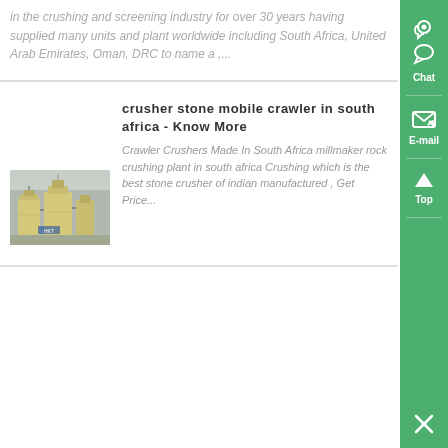in the crushing and screening industry for over 30 years having supplied many units and plant worldwide including South Africa, United Arab Emirates, Oman, DRC to name a ,...
crusher stone mobile crawler in south africa - Know More
[Figure (photo): Industrial grinding/crushing machine equipment, yellow/beige colored, in an outdoor setting]
Crawler Crushers Made In South Africa millmaker rock crushing plant in south africa Crushing which is the best stone crusher of indian manufactured , Get Price...